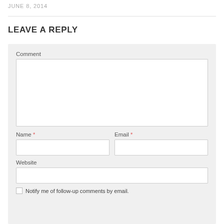JUNE 8, 2014
LEAVE A REPLY
Comment
Name *
Email *
Website
Notify me of follow-up comments by email.